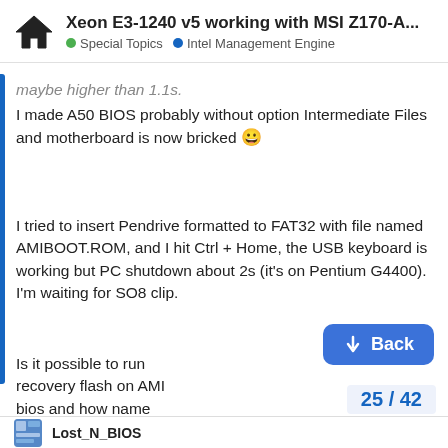Xeon E3-1240 v5 working with MSI Z170-A... | Special Topics | Intel Management Engine
maybe higher than 1.1s.
I made A50 BIOS probably without option Intermediate Files and motherboard is now bricked 😀
I tried to insert Pendrive formatted to FAT32 with file named AMIBOOT.ROM, and I hit Ctrl + Home, the USB keyboard is working but PC shutdown about 2s (it's on Pentium G4400).
I'm waiting for SO8 clip.
Is it possible to run recovery flash on AMI bios and how name files?
Back
25 / 42
Lost_N_BIOS